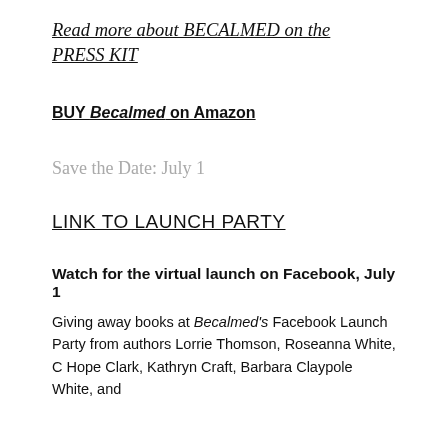Read more about BECALMED on the PRESS KIT
BUY Becalmed on Amazon
Save the Date: July 1
LINK TO LAUNCH PARTY
Watch for the virtual launch on Facebook, July 1
Giving away books at Becalmed's Facebook Launch Party from authors Lorrie Thomson, Roseanna White, C Hope Clark, Kathryn Craft, Barbara Claypole White, and